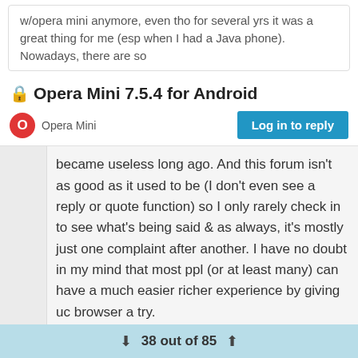w/opera mini anymore, even tho for several yrs it was a great thing for me (esp when I had a Java phone). Nowadays, there are so
Opera Mini 7.5.4 for Android
Opera Mini
Log in to reply
became useless long ago. And this forum isn't as good as it used to be (I don't even see a reply or quote function) so I only rarely check in to see what's being said & as always, it's mostly just one complaint after another. I have no doubt in my mind that most ppl (or at least many) can have a much easier richer experience by giving uc browser a try.
As to next browser, I only recently discovered it & it seems to work decently & has stability. It also has flash or h.264 or whatever... (videos always
38 out of 85